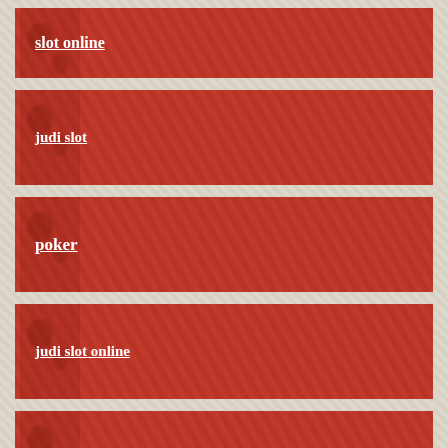slot online
judi slot
poker
judi slot online
daftar dadu online
agen slot online